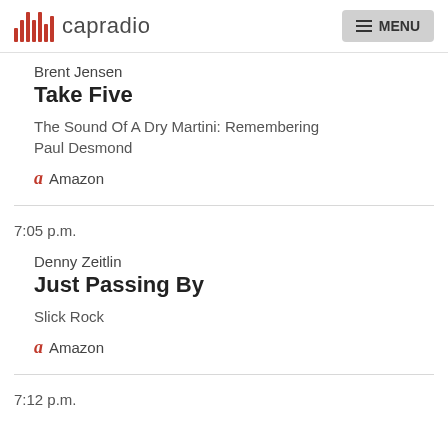capradio  MENU
Brent Jensen
Take Five
The Sound Of A Dry Martini: Remembering Paul Desmond
Amazon
7:05 p.m.
Denny Zeitlin
Just Passing By
Slick Rock
Amazon
7:12 p.m.